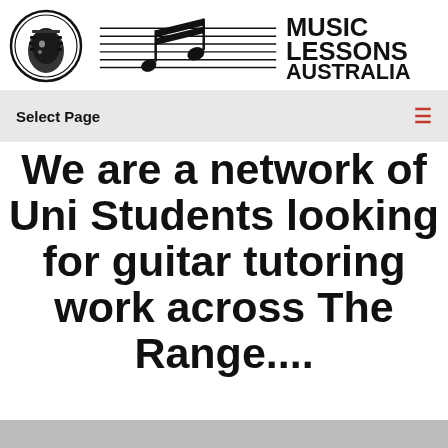[Figure (logo): Music Lessons Australia logo with guitar headstock in circle and musical notes on staff lines]
Select Page
We are a network of Uni Students looking for guitar tutoring work across The Range....